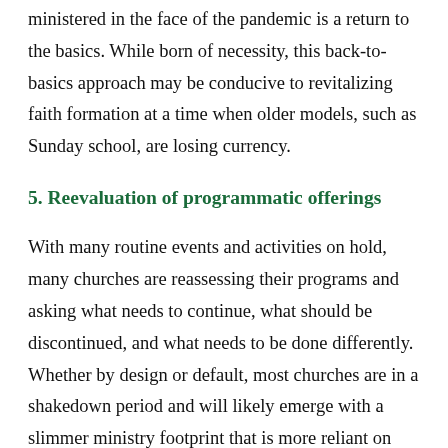ministered in the face of the pandemic is a return to the basics. While born of necessity, this back-to-basics approach may be conducive to revitalizing faith formation at a time when older models, such as Sunday school, are losing currency.
5. Reevaluation of programmatic offerings
With many routine events and activities on hold, many churches are reassessing their programs and asking what needs to continue, what should be discontinued, and what needs to be done differently. Whether by design or default, most churches are in a shakedown period and will likely emerge with a slimmer ministry footprint that is more reliant on